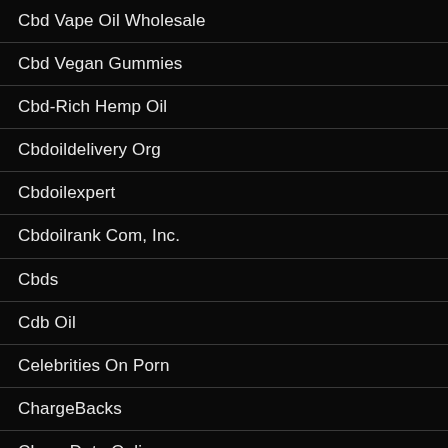Cbd Vape Oil Wholesale
Cbd Vegan Gummies
Cbd-Rich Hemp Oil
Cbdoildelivery Org
Cbdoilexpert
Cbdoilrank Com, Inc.
Cbds
Cdb Oil
Celebrities On Porn
ChargeBacks
CharmDate Online
Chat With Russian Brides
Chatavenue'